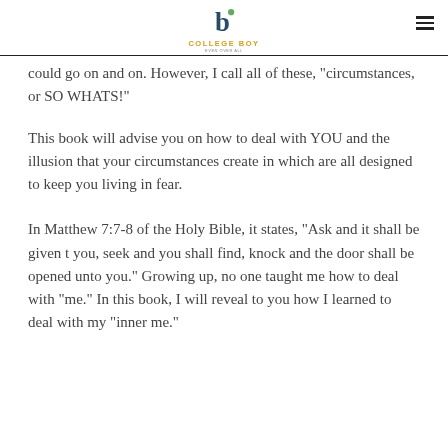COLLEGE BOY
could go on and on. However, I call all of these, “circumstances, or SO WHATS!”
This book will advise you on how to deal with YOU and the illusion that your circumstances create in which are all designed to keep you living in fear.
In Matthew 7:7-8 of the Holy Bible, it states, “Ask and it shall be given t you, seek and you shall find, knock and the door shall be opened unto you.” Growing up, no one taught me how to deal with “me.” In this book, I will reveal to you how I learned to deal with my “inner me.”